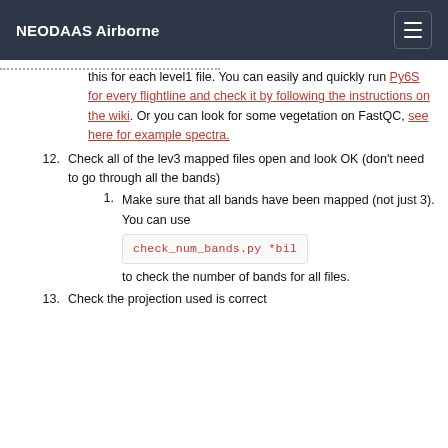NEODAAS Airborne
this for each level1 file. You can easily and quickly run Py6S for every flightline and check it by following the instructions on the wiki. Or you can look for some vegetation on FastQC, see here for example spectra.
12. Check all of the lev3 mapped files open and look OK (don't need to go through all the bands)
1. Make sure that all bands have been mapped (not just 3). You can use check_num_bands.py *bil to check the number of bands for all files.
13. Check the projection used is correct